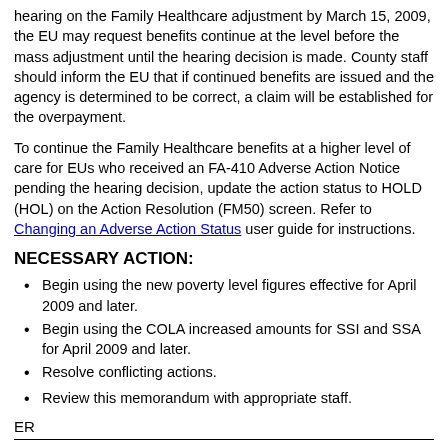hearing on the Family Healthcare adjustment by March 15, 2009, the EU may request benefits continue at the level before the mass adjustment until the hearing decision is made. County staff should inform the EU that if continued benefits are issued and the agency is determined to be correct, a claim will be established for the overpayment.
To continue the Family Healthcare benefits at a higher level of care for EUs who received an FA-410 Adverse Action Notice pending the hearing decision, update the action status to HOLD (HOL) on the Action Resolution (FM50) screen. Refer to Changing an Adverse Action Status user guide for instructions.
NECESSARY ACTION:
Begin using the new poverty level figures effective for April 2009 and later.
Begin using the COLA increased amounts for SSI and SSA for April 2009 and later.
Resolve conflicting actions.
Review this memorandum with appropriate staff.
ER
2009 Memorandums